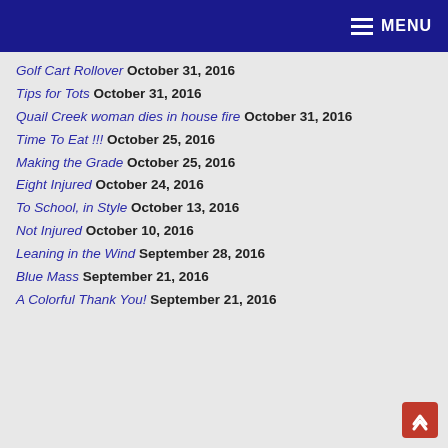MENU
Golf Cart Rollover October 31, 2016
Tips for Tots October 31, 2016
Quail Creek woman dies in house fire October 31, 2016
Time To Eat !!! October 25, 2016
Making the Grade October 25, 2016
Eight Injured October 24, 2016
To School, in Style October 13, 2016
Not Injured October 10, 2016
Leaning in the Wind September 28, 2016
Blue Mass September 21, 2016
A Colorful Thank You! September 21, 2016